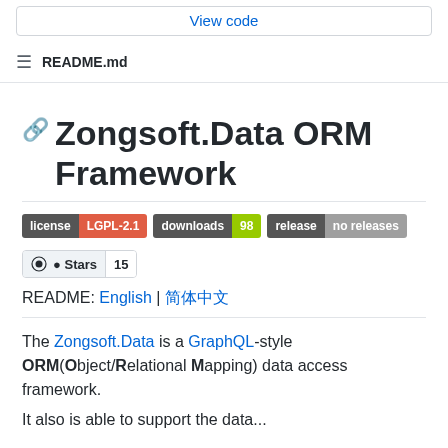View code
README.md
Zongsoft.Data ORM Framework
[Figure (other): Badges: license LGPL-2.1, downloads 98, release no releases, Stars 15]
README: English | 简体中文
The Zongsoft.Data is a GraphQL-style ORM(Object/Relational Mapping) data access framework.
It also is able to...